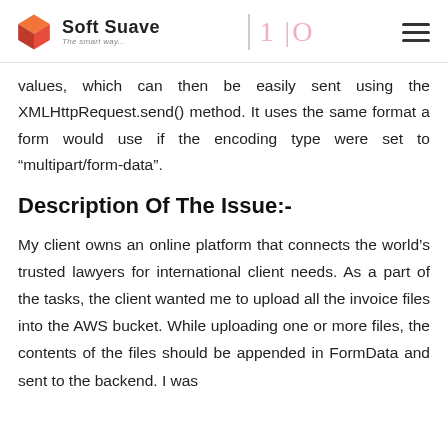Soft Suave — The smart way. | 10
values, which can then be easily sent using the XMLHttpRequest.send() method. It uses the same format a form would use if the encoding type were set to “multipart/form-data”.
Description Of The Issue:-
My client owns an online platform that connects the world’s trusted lawyers for international client needs. As a part of the tasks, the client wanted me to upload all the invoice files into the AWS bucket. While uploading one or more files, the contents of the files should be appended in FormData and sent to the backend. I was